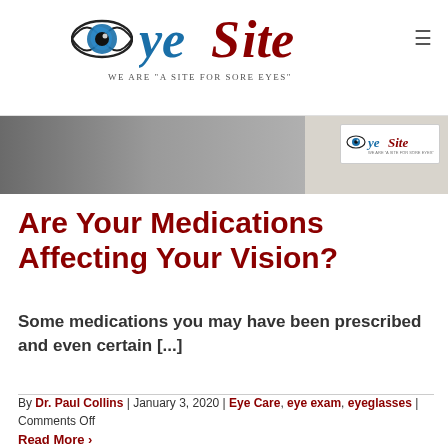[Figure (logo): EyeSite optometry logo with stylized eye and text, tagline: We Are "A Site For Sore Eyes"]
[Figure (photo): Banner photo of medical/eye care setting with EyeSite logo badge overlay]
Are Your Medications Affecting Your Vision?
Some medications you may have been prescribed and even certain [...]
By Dr. Paul Collins | January 3, 2020 | Eye Care, eye exam, eyeglasses | Comments Off
Read More >